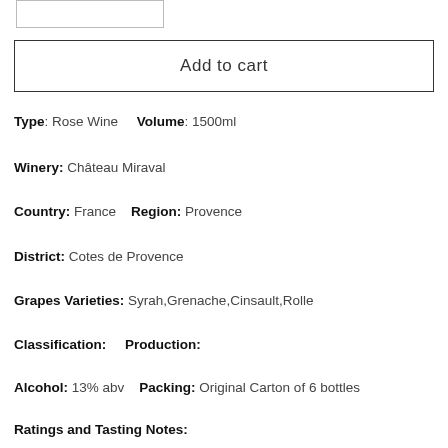[Figure (other): Quantity input box (partial, cropped at top)]
Add to cart
Type: Rose Wine    Volume: 1500ml
Winery: Château Miraval
Country: France    Region: Provence
District: Cotes de Provence
Grapes Varieties: Syrah,Grenache,Cinsault,Rolle
Classification:     Production:
Alcohol: 13% abv    Packing: Original Carton of 6 bottles
Ratings and Tasting Notes: